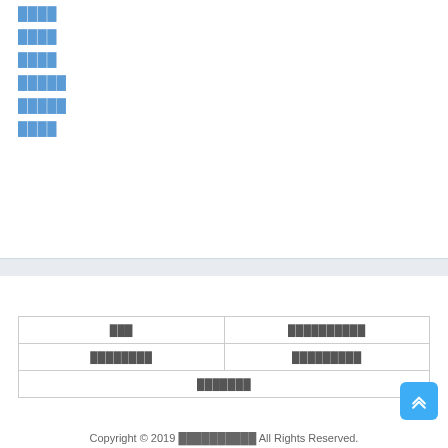████
████
████
█████
█████
████
| ███ | ██████████ |
| ████████ | █████████ |
| ███████ |  |
Copyright © 2019 ██████████ All Rights Reserved.